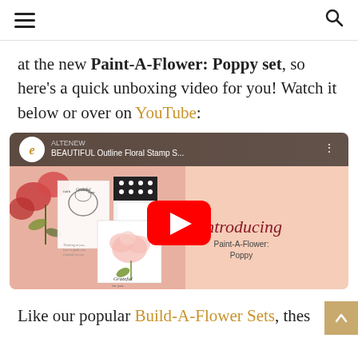hamburger menu | search icon
at the new Paint-A-Flower: Poppy set, so here's a quick unboxing video for you! Watch it below or over on YouTube:
[Figure (screenshot): YouTube video thumbnail for 'BEAUTIFUL Outline Floral Stamp S...' from Altenew channel, showing Paint-A-Flower: Poppy stamp set with floral cards and introducing text, with red YouTube play button in center]
Like our popular Build-A-Flower Sets, thes